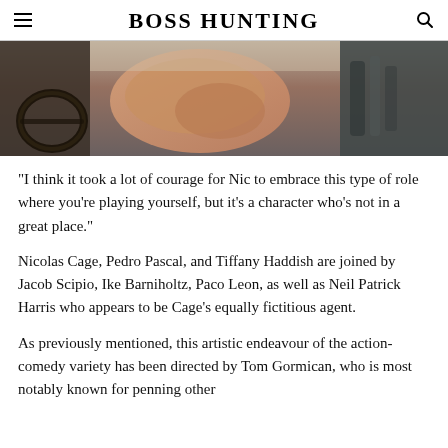BOSS HUNTING
[Figure (photo): Close-up photo of a muscular arm near a car steering wheel, shot from inside a vehicle]
“I think it took a lot of courage for Nic to embrace this type of role where you’re playing yourself, but it’s a character who’s not in a great place.”
Nicolas Cage, Pedro Pascal, and Tiffany Haddish are joined by Jacob Scipio, Ike Barniholtz, Paco Leon, as well as Neil Patrick Harris who appears to be Cage’s equally fictitious agent.
As previously mentioned, this artistic endeavour of the action-comedy variety has been directed by Tom Gormican, who is most notably known for penning other